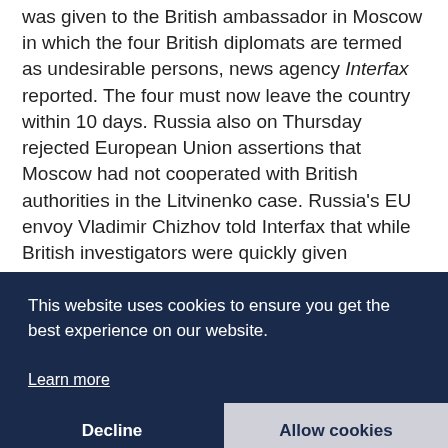was given to the British ambassador in Moscow in which the four British diplomats are termed as undesirable persons, news agency Interfax reported. The four must now leave the country within 10 days. Russia also on Thursday rejected European Union assertions that Moscow had not cooperated with British authorities in the Litvinenko case. Russia's EU envoy Vladimir Chizhov told Interfax that while British investigators were quickly given permission to travel to Russia as part of their probe, Russian authorities were prevented from entering Britain for some time. Chizhov criticised a statement from the Portuguese p... h... c... a... th... a... e L... position on the Lugovol issue did not stand up to
[Figure (screenshot): Cookie consent overlay with dark navy background. Text reads: 'This website uses cookies to ensure you get the best experience on our website.' with a 'Learn more' link. Two buttons at bottom: 'Decline' (dark background) and 'Allow cookies' (light grey background).]